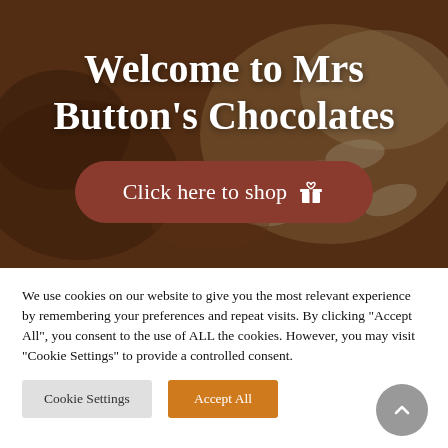[Figure (photo): Hero image of chocolate and white chocolate pieces with dark brown overlay, showing Mrs Button's Chocolates website header]
Welcome to Mrs Button's Chocolates
Click here to shop 🎁
We use cookies on our website to give you the most relevant experience by remembering your preferences and repeat visits. By clicking "Accept All", you consent to the use of ALL the cookies. However, you may visit "Cookie Settings" to provide a controlled consent.
Cookie Settings
Accept All